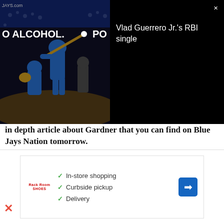[Figure (screenshot): Video overlay showing a baseball game thumbnail on the left (Blue Jays player batting) and text 'Vlad Guerrero Jr.'s RBI single' on black background to the right, with a close (X) button]
in depth article about Gardner that you can find on Blue Jays Nation tomorrow.
As always, you can follow me on Twitter @Brennan_L_D. I'll be starting a full-time job tomorrow (Wednesday, March 23rd), meaning that I won't be writing as many articles, but still expect quite a few per week.
[Figure (screenshot): Advertisement showing checkboxes for In-store shopping, Curbside pickup, and Delivery with a navigation arrow icon and store logo]